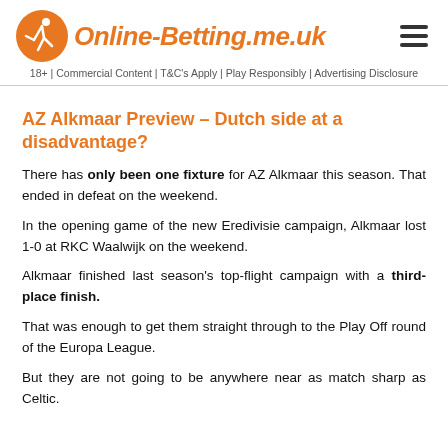Online-Betting.me.uk
18+ | Commercial Content | T&C's Apply | Play Responsibly | Advertising Disclosure
AZ Alkmaar Preview – Dutch side at a disadvantage?
There has only been one fixture for AZ Alkmaar this season. That ended in defeat on the weekend.
In the opening game of the new Eredivisie campaign, Alkmaar lost 1-0 at RKC Waalwijk on the weekend.
Alkmaar finished last season's top-flight campaign with a third-place finish.
That was enough to get them straight through to the Play Off round of the Europa League.
But they are not going to be anywhere near as match sharp as Celtic.